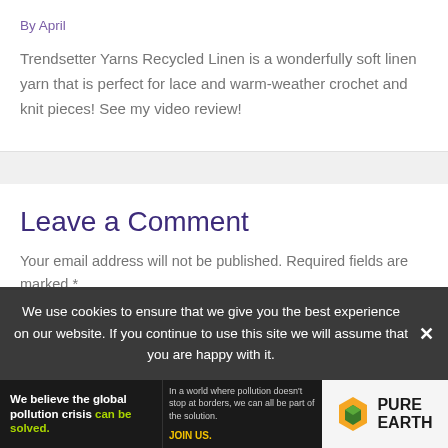By April
Trendsetter Yarns Recycled Linen is a wonderfully soft linen yarn that is perfect for lace and warm-weather crochet and knit pieces! See my video review!
Leave a Comment
Your email address will not be published. Required fields are marked *
We use cookies to ensure that we give you the best experience on our website. If you continue to use this site we will assume that you are happy with it.
[Figure (illustration): Pure Earth advertisement banner: 'We believe the global pollution crisis can be solved. In a world where pollution doesn't stop at borders, we can all be part of the solution. JOIN US.' with Pure Earth diamond logo.]